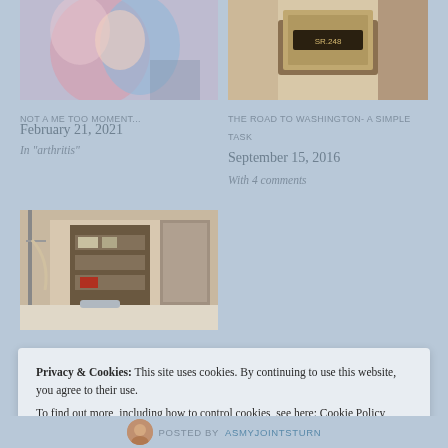[Figure (photo): Abstract painting showing figures in blue and pink tones]
NOT A ME TOO MOMENT...
February 21, 2021
In "arthritis"
[Figure (photo): Photo of a door plaque reading SR.248]
THE ROAD TO WASHINGTON- A SIMPLE TASK
September 15, 2016
With 4 comments
[Figure (photo): Photo of a storage room or medical equipment area with shelves and equipment]
Privacy & Cookies: This site uses cookies. By continuing to use this website, you agree to their use.
To find out more, including how to control cookies, see here: Cookie Policy
Close and accept
POSTED BY ASMYJOINTSTURN